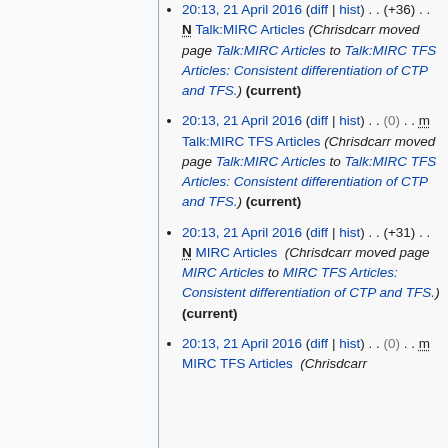20:13, 21 April 2016 (diff | hist) . . (+36) . . N Talk:MIRC Articles (Chrisdcarr moved page Talk:MIRC Articles to Talk:MIRC TFS Articles: Consistent differentiation of CTP and TFS.) (current)
20:13, 21 April 2016 (diff | hist) . . (0) . . m Talk:MIRC TFS Articles (Chrisdcarr moved page Talk:MIRC Articles to Talk:MIRC TFS Articles: Consistent differentiation of CTP and TFS.) (current)
20:13, 21 April 2016 (diff | hist) . . (+31) . . N MIRC Articles (Chrisdcarr moved page MIRC Articles to MIRC TFS Articles: Consistent differentiation of CTP and TFS.) (current)
20:13, 21 April 2016 (diff | hist) . . (0) . . m MIRC TFS Articles (Chrisdcarr